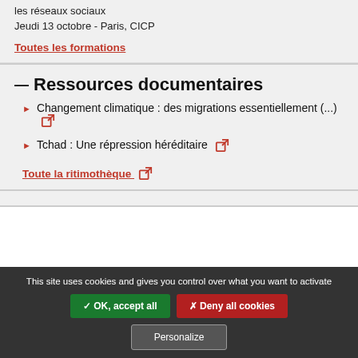les réseaux sociaux
Jeudi 13 octobre - Paris, CICP
Toutes les formations
Ressources documentaires
Changement climatique : des migrations essentiellement (...)
Tchad : Une répression héréditaire
Toute la ritimothèque
This site uses cookies and gives you control over what you want to activate
✓ OK, accept all
✗ Deny all cookies
Personalize